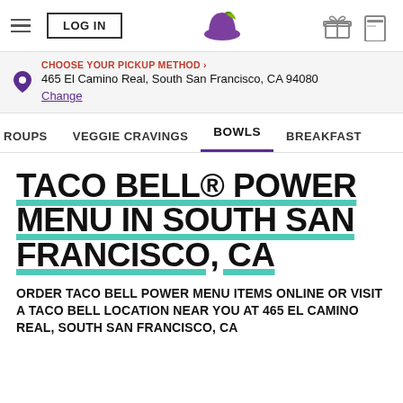LOG IN | Taco Bell logo | [gift icon] [card icon]
CHOOSE YOUR PICKUP METHOD › 465 El Camino Real, South San Francisco, CA 94080 Change
ROUPS   VEGGIE CRAVINGS   BOWLS   BREAKFAST
TACO BELL® POWER MENU IN SOUTH SAN FRANCISCO, CA
ORDER TACO BELL POWER MENU ITEMS ONLINE OR VISIT A TACO BELL LOCATION NEAR YOU AT 465 EL CAMINO REAL, SOUTH SAN FRANCISCO, CA